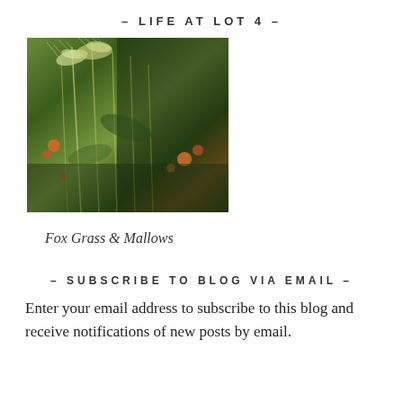– LIFE AT LOT 4 –
[Figure (photo): Close-up photograph of Fox Grass and Mallow plants growing together, with feathery grass seed heads and small orange/red flowers visible among green foliage.]
Fox Grass & Mallows
– SUBSCRIBE TO BLOG VIA EMAIL –
Enter your email address to subscribe to this blog and receive notifications of new posts by email.